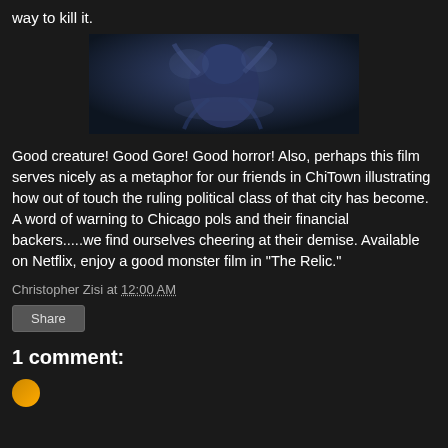way to kill it.
[Figure (photo): Dark blue-tinted still from the movie 'The Relic' showing a creature figure]
Good creature! Good Gore! Good horror!  Also, perhaps this film serves nicely as a metaphor for our friends in ChiTown illustrating how out of touch the ruling political class of that city has become. A word of warning to Chicago pols and their financial backers.....we find ourselves cheering at their demise.  Available on Netflix, enjoy a good monster film in "The Relic."
Christopher Zisi at 12:00 AM
Share
1 comment: